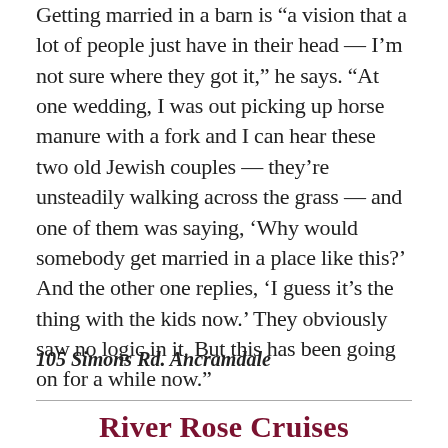Getting married in a barn is “a vision that a lot of people just have in their head — I’m not sure where they got it,” he says. “At one wedding, I was out picking up horse manure with a fork and I can hear these two old Jewish couples — they’re unsteadily walking across the grass — and one of them was saying, ‘Why would somebody get married in a place like this?’ And the other one replies, ‘I guess it’s the thing with the kids now.’ They obviously saw no logic in it. But this has been going on for a while now.”
105 Simons Rd. Ancramdale
River Rose Cruises